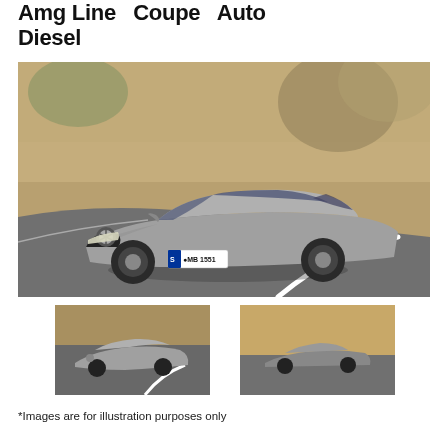Amg Line Coupe Auto Diesel
[Figure (photo): Main large photo of a silver Mercedes-Benz AMG Line Coupe (plate S MB 1551) driving on a curved road with blurred rocky background]
[Figure (photo): Thumbnail photo of silver Mercedes-Benz AMG coupe on curve, front-side view]
[Figure (photo): Thumbnail photo of silver Mercedes-Benz AMG coupe on road, side view from distance]
*Images are for illustration purposes only